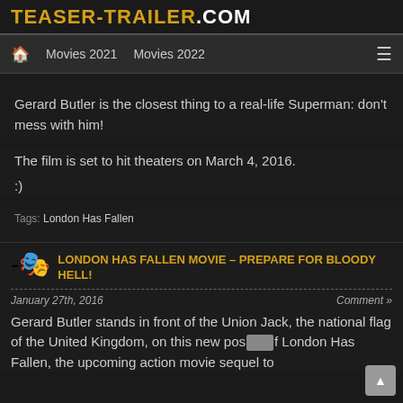TEASER-TRAILER.COM
🏠  Movies 2021    Movies 2022    ≡
Gerard Butler is the closest thing to a real-life Superman: don't mess with him!
The film is set to hit theaters on March 4, 2016.
:)
Tags: London Has Fallen
LONDON HAS FALLEN MOVIE – PREPARE FOR BLOODY HELL!
January 27th, 2016
Comment »
Gerard Butler stands in front of the Union Jack, the national flag of the United Kingdom, on this new poster of London Has Fallen, the upcoming action movie sequel to